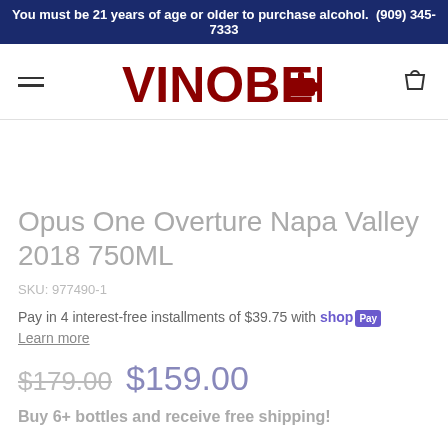You must be 21 years of age or older to purchase alcohol.  (909) 345-7333
[Figure (logo): VINOBEE logo with wine bottle graphic in dark red]
Opus One Overture Napa Valley 2018 750ML
SKU: 977490-1
Pay in 4 interest-free installments of $39.75 with shop Pay
Learn more
$179.00  $159.00
Buy 6+ bottles and receive free shipping!